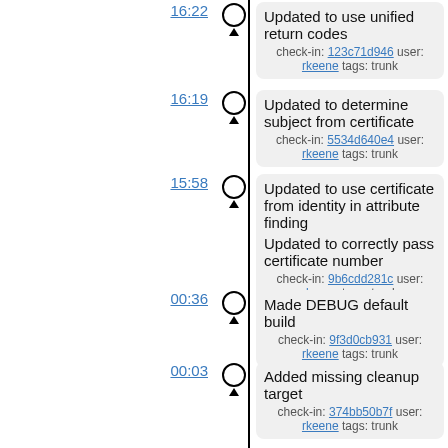16:22 - Updated to use unified return codes - check-in: 123c71d946 user: rkeene tags: trunk
16:19 - Updated to determine subject from certificate - check-in: 5534d640e4 user: rkeene tags: trunk
15:58 - Updated to use certificate from identity in attribute finding / Updated to correctly pass certificate number - check-in: 9b6cdd281c user: rkeene tags: trunk
00:36 - Made DEBUG default build - check-in: 9f3d0cb931 user: rkeene tags: trunk
00:03 - Added missing cleanup target - check-in: 374bb50b7f user: rkeene tags: trunk
2010-05-12
23:58 - Moved certificate examination to occur during search initialization / Added support for logging in via PC/SC in C_Login()